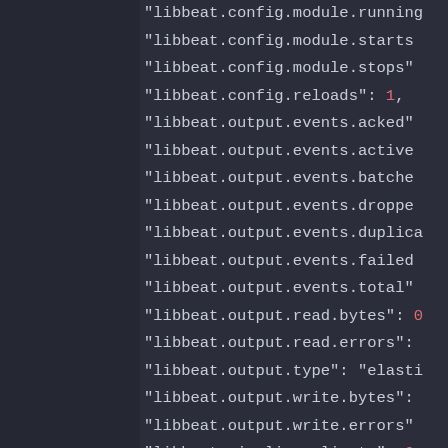[Figure (screenshot): Code editor screenshot showing JSON/log output with libbeat configuration and output event keys. Dark background with monospace font. Lines include libbeat.config.module.running, libbeat.config.module.starts, libbeat.config.module.stops, libbeat.config.reloads: 1, libbeat.output.events.acked, libbeat.output.events.active, libbeat.output.events.batches, libbeat.output.events.dropped, libbeat.output.events.duplica..., libbeat.output.events.failed..., libbeat.output.events.total, libbeat.output.read.bytes: 0, libbeat.output.read.errors:, libbeat.output.type: elasti..., libbeat.output.write.bytes:, libbeat.output.write.errors, libbeat.pipeline.clients: 6, libbeat.pipeline.events.acti..., libbeat.pipeline.events.acti...]